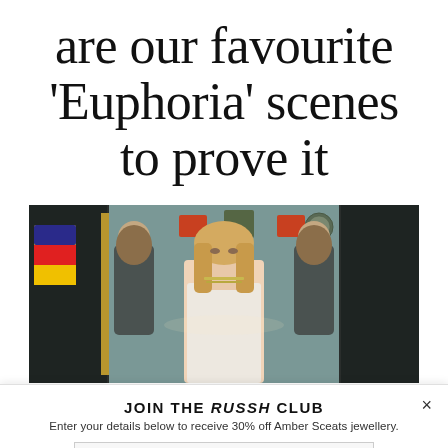are our favourite 'Euphoria' scenes to prove it
[Figure (photo): A young blonde woman in a white lace top standing in front of gilded mirrors, reflecting multiple angles of herself. The background shows a teal/green room with decorative items on the wall.]
JOIN THE RUSSH CLUB
Enter your details below to receive 30% off Amber Sceats jewellery.
Email